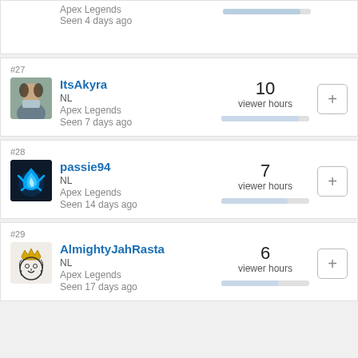Apex Legends
Seen 4 days ago
#27 ItsAkyra NL Apex Legends Seen 7 days ago 10 viewer hours
#28 passie94 NL Apex Legends Seen 14 days ago 7 viewer hours
#29 AlmightyJahRasta NL Apex Legends Seen 17 days ago 6 viewer hours